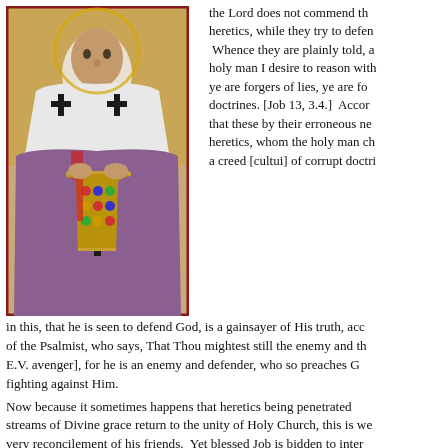[Figure (illustration): Byzantine-style icon of a bishop or saint in purple vestments decorated with black crosses, holding a jeweled book, painted in the Orthodox icon tradition with gold background.]
the Lord does not commend the heretics, while they try to defend. Whence they are plainly told, a holy man I desire to reason with ye are forgers of lies, ye are followers of corrupt doctrines. [Job 13, 3.4.] According to that these by their erroneous notions are heretics, whom the holy man charges with a creed [cultui] of corrupt doctrines.
in this, that he is seen to defend God, is a gainsayer of His truth, according to the word of the Psalmist, who says, That Thou mightest still the enemy and the avenger [Douay, E.V. avenger], for he is an enemy and defender, who so preaches God as to be fighting against Him.
Now because it sometimes happens that heretics being penetrated with streams of Divine grace return to the unity of Holy Church, this is well shown by the very reconcilement of his friends. Yet blessed Job is bidden to intercede for them: the sacrifices of heretics can never be acceptable to God, unless they be offered on their behalf by the hands of the universal Church, that by her merits they may find the gate of salvation, whom they did strike before by assailing her with the darts of error. And hence seven sacrifices are recorded to have been offered for them, that by sevenfold confessing they receive the Spirit of sevenfold grace, they do as it were make satisfaction by seven offerings. It is hence that in the Apocalypse of John the whole Church is addressed by the number of seven Churches. [Rev. 1, 12.] How is it is said [